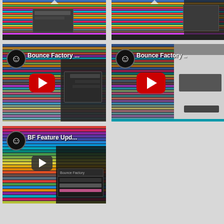[Figure (screenshot): YouTube video thumbnail - DAW software screenshot, top left, partially cropped]
[Figure (screenshot): YouTube video thumbnail - DAW software screenshot, top right, partially cropped]
[Figure (screenshot): YouTube video thumbnail - 'Bounce Factory ...' with red YouTube play button, middle left]
[Figure (screenshot): YouTube video thumbnail - 'Bounce Factory ..' with red YouTube play button, middle right]
[Figure (screenshot): YouTube video thumbnail - 'BF Feature Upd...' with grey YouTube play button, bottom left]